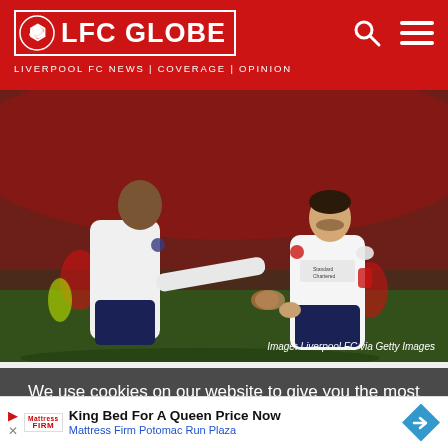LFC GLOBE | LIVERPOOL FC NEWS | COVERAGE | OPINION
[Figure (photo): Two Liverpool FC players in white away kit on a football pitch. One player reaches out to another. Image credit: Liverpool FC via Getty Images.]
Image: Liverpool FC via Getty Images
We use cookies on our website to give you the most relevant browsing experience.
[Figure (infographic): Advertisement banner: King Bed For A Queen Price Now - Mattress Firm Potomac Run Plaza, with Mattress Firm logo and blue diamond arrow icon.]